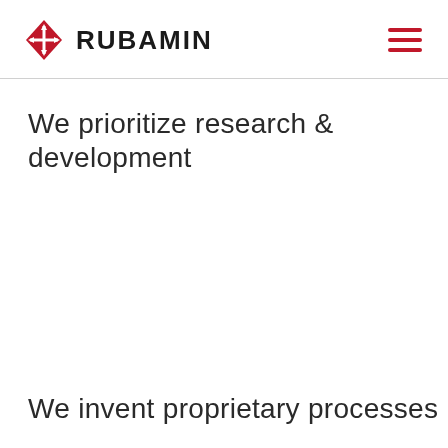RUBAMIN
We prioritize research & development
We invent proprietary processes